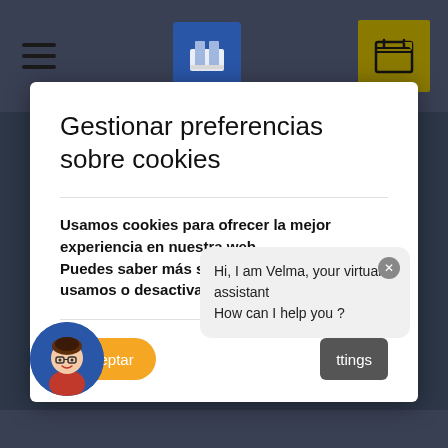[Figure (screenshot): Website navigation bar with hamburger menu, logo, and calendar icon on dark background]
Gestionar preferencias sobre cookies
Usamos cookies para ofrecer la mejor experiencia en nuestra web.
Puedes saber más sobre qué cookies usamos o desactivarlas en los ajustes.
[Figure (screenshot): Chat bubble from virtual assistant Velma saying: Hi, I am Velma, your virtual assistant How can I help you?]
[Figure (illustration): Avatar of a woman with glasses and red top in a blue circle]